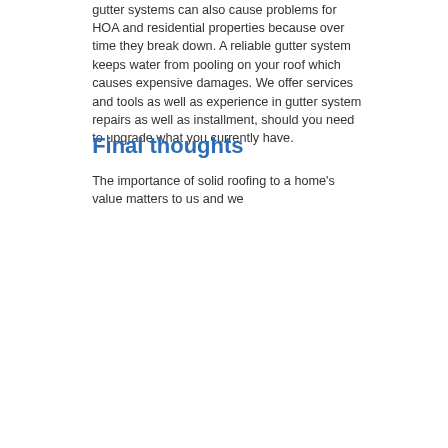gutter systems can also cause problems for HOA and residential properties because over time they break down. A reliable gutter system keeps water from pooling on your roof which causes expensive damages. We offer services and tools as well as experience in gutter system repairs as well as installment, should you need to upgrade what you currently have.
Final thoughts
The importance of solid roofing to a home's value matters to us and we